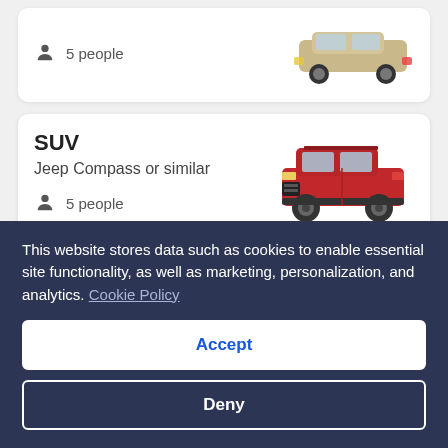[Figure (illustration): Partial view of a beige/tan SUV or crossover car, top portion cut off by page edge]
5 people
SUV
Jeep Compass or similar
5 people
[Figure (illustration): Red Jeep Compass SUV facing left]
More to explore for Carlsbad
This website stores data such as cookies to enable essential site functionality, as well as marketing, personalization, and analytics. Cookie Policy
Accept
Deny